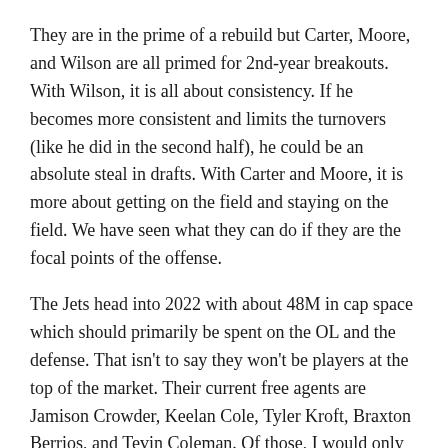They are in the prime of a rebuild but Carter, Moore, and Wilson are all primed for 2nd-year breakouts. With Wilson, it is all about consistency. If he becomes more consistent and limits the turnovers (like he did in the second half), he could be an absolute steal in drafts. With Carter and Moore, it is more about getting on the field and staying on the field. We have seen what they can do if they are the focal points of the offense.
The Jets head into 2022 with about 48M in cap space which should primarily be spent on the OL and the defense. That isn't to say they won't be players at the top of the market. Their current free agents are Jamison Crowder, Keelan Cole, Tyler Kroft, Braxton Berrios, and Tevin Coleman. Of those, I would only expect Berrios to be back. That leaves them in the market for a RB and at least a WR or 2 and most likely they draft one of the WRs to make their offense a bit more explosive.
At current ADPs, the Jets are a pretty easy team to stack, and I